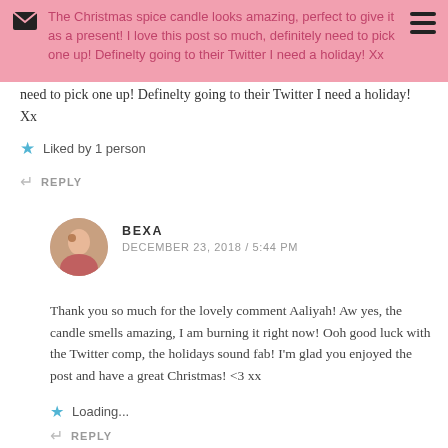The Christmas spice candle looks amazing, perfect to give it as a present! I love this post so much, definitely need to pick one up! Definelty going to their Twitter I need a holiday! Xx
need to pick one up! Definelty going to their Twitter I need a holiday! Xx
Liked by 1 person
REPLY
BEXA
DECEMBER 23, 2018 / 5:44 PM
Thank you so much for the lovely comment Aaliyah! Aw yes, the candle smells amazing, I am burning it right now! Ooh good luck with the Twitter comp, the holidays sound fab! I'm glad you enjoyed the post and have a great Christmas! <3 xx
Loading...
REPLY